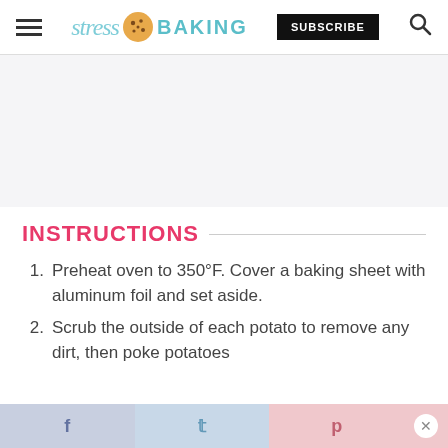stress BAKING — SUBSCRIBE
[Figure (other): Advertisement placeholder area with light gray background]
INSTRUCTIONS
Preheat oven to 350°F. Cover a baking sheet with aluminum foil and set aside.
Scrub the outside of each potato to remove any dirt, then poke potatoes